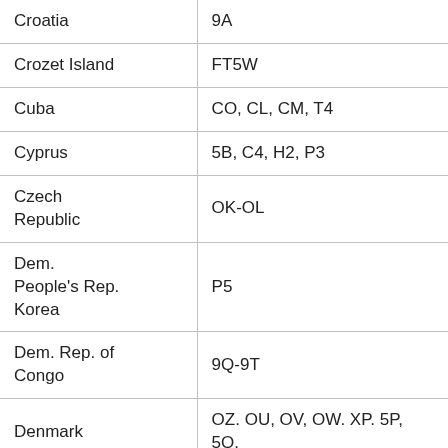| Country | Code |
| --- | --- |
| Croatia | 9A |
| Crozet Island | FT5W |
| Cuba | CO, CL, CM, T4 |
| Cyprus | 5B, C4, H2, P3 |
| Czech Republic | OK-OL |
| Dem. People's Rep. Korea | P5 |
| Dem. Rep. of Congo | 9Q-9T |
| Denmark | OZ. OU, OV, OW. XP. 5P, 5Q. |